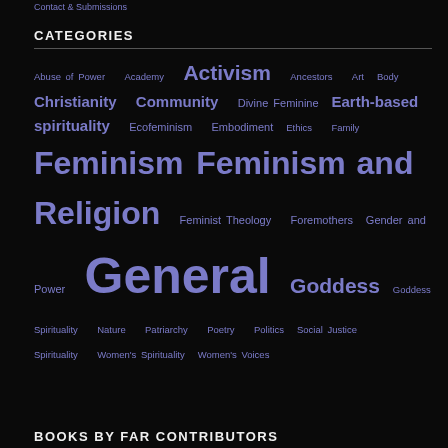Contact & Submissions
CATEGORIES
Abuse of Power  Academy  Activism  Ancestors  Art  Body  Christianity  Community  Divine Feminine  Earth-based spirituality  Ecofeminism  Embodiment  Ethics  Family  Feminism  Feminism and Religion  Feminist Theology  Foremothers  Gender and Power  General  Goddess  Goddess Spirituality  Nature  Patriarchy  Poetry  Politics  Social Justice  Spirituality  Women's Spirituality  Women's Voices
BOOKS BY FAR CONTRIBUTORS